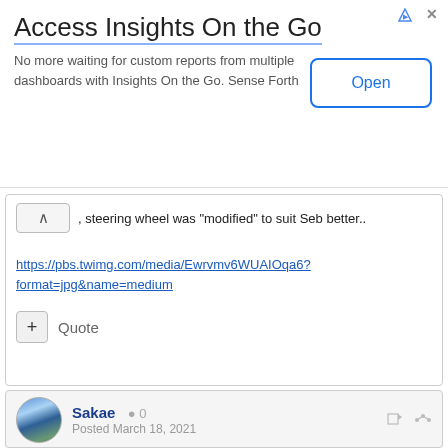[Figure (infographic): Advertisement banner: 'Access Insights On the Go' with description text and Open button]
Access Insights On the Go
No more waiting for custom reports from multiple dashboards with Insights On the Go. Sense Forth
, steering wheel was "modified" to suit Seb better..
https://pbs.twimg.com/media/Ewrvmv6WUAIOqa6?format=jpg&name=medium
Quote
Sakae   0
Posted March 18, 2021
AM has a strong package?
OK, so we are good for a podium next week?
Quote